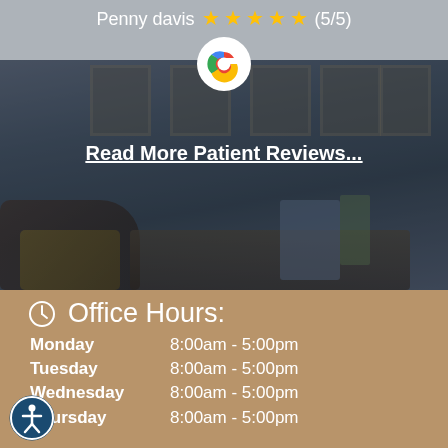Penny davis ★★★★★ (5/5)
[Figure (logo): Google G logo in a white circle]
Read More Patient Reviews...
[Figure (photo): Medical office waiting room interior with chairs, desk, diplomas on wall]
Office Hours:
Monday    8:00am - 5:00pm
Tuesday    8:00am - 5:00pm
Wednesday    8:00am - 5:00pm
Thursday    8:00am - 5:00pm
[Figure (illustration): Accessibility icon - person in circle outline]